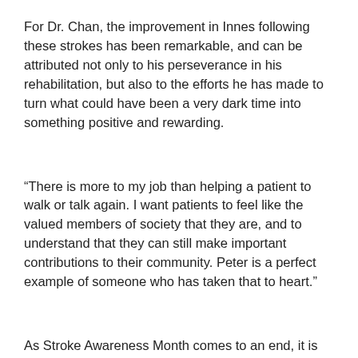For Dr. Chan, the improvement in Innes following these strokes has been remarkable, and can be attributed not only to his perseverance in his rehabilitation, but also to the efforts he has made to turn what could have been a very dark time into something positive and rewarding.
“There is more to my job than helping a patient to walk or talk again. I want patients to feel like the valued members of society that they are, and to understand that they can still make important contributions to their community. Peter is a perfect example of someone who has taken that to heart.”
As Stroke Awareness Month comes to an end, it is important to remember the warning signs of stroke, and to get help immediately if they should appear.